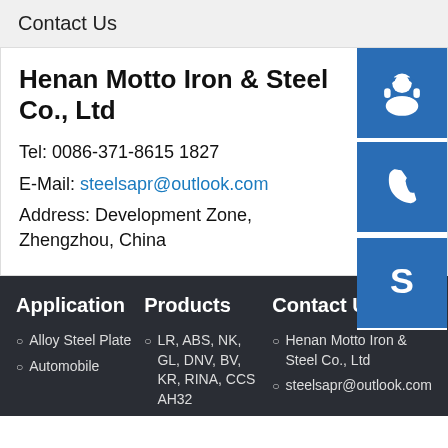Contact Us
Henan Motto Iron & Steel Co., Ltd
Tel: 0086-371-8615 1827
E-Mail: steelsapr@outlook.com
Address: Development Zone, Zhengzhou, China
[Figure (illustration): Three blue icon buttons on the right side: headset/support icon, phone icon, Skype icon]
Application
Alloy Steel Plate
Automobile
Products
LR, ABS, NK, GL, DNV, BV, KR, RINA, CCS AH32
Contact US
Henan Motto Iron & Steel Co., Ltd
steelsapr@outlook.com